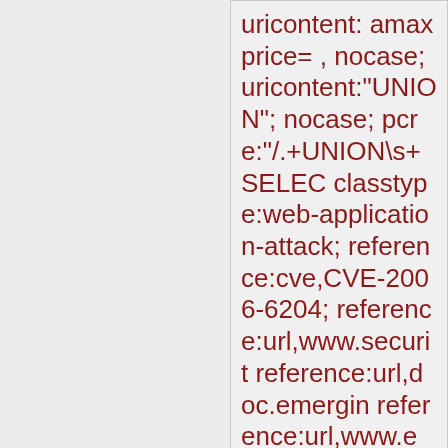uricontent: amaxprice= , nocase; uricontent:"UNION"; nocase; pcre:"/.+UNION\s+SELEC classtype:web-application-attack; reference:cve,CVE-2006-6204; reference:url,www.securit reference:url,doc.emergin reference:url,www.emergi bin/cvsweb.cgi/sigs/WEB_ sid:2007131; rev:4;)
Added 2009-10-06 14:19:24 UTC
alert tcp $EXTERNAL_NET